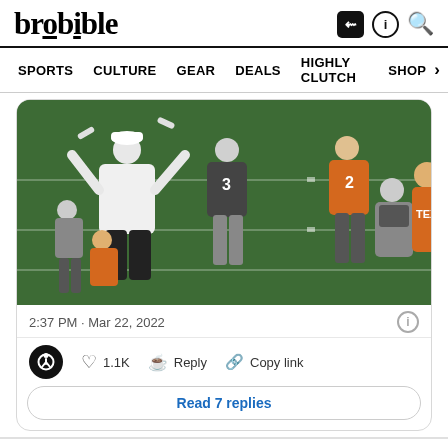brobible
SPORTS  CULTURE  GEAR  DEALS  HIGHLY CLUTCH  SHOP >
[Figure (photo): Football practice on a green field; a coach in white hoodie and white cap gestures with arms raised; players in orange Texas Longhorns uniforms and dark practice gear visible; jersey numbers 3 and 2 visible]
2:37 PM · Mar 22, 2022
♡ 1.1K   Reply   Copy link
Read 7 replies
Here's another, closer look: